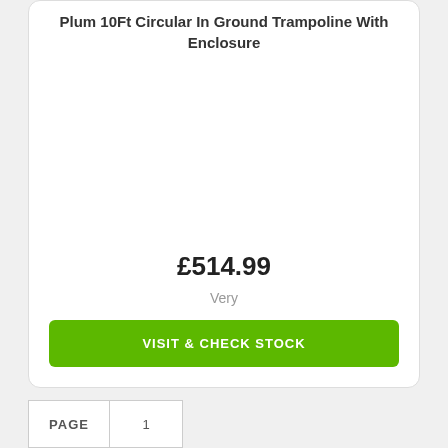Plum 10Ft Circular In Ground Trampoline With Enclosure
£514.99
Very
VISIT & CHECK STOCK
PAGE 1